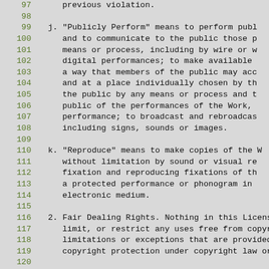97    previous violation.
98
99  j. "Publicly Perform" means to perform publ
100     and to communicate to the public those p
101     means or process, including by wire or w
102     digital performances; to make available
103     a way that members of the public may acc
104     and at a place individually chosen by th
105     the public by any means or process and t
106     public of the performances of the Work,
107     performance; to broadcast and rebroadcas
108     including signs, sounds or images.
109
110  k. "Reproduce" means to make copies of the W
111     without limitation by sound or visual re
112     fixation and reproducing fixations of th
113     a protected performance or phonogram in
114     electronic medium.
115
116  2. Fair Dealing Rights. Nothing in this Licens
117     limit, or restrict any uses free from copyr
118     limitations or exceptions that are provided
119     copyright protection under copyright law or
120